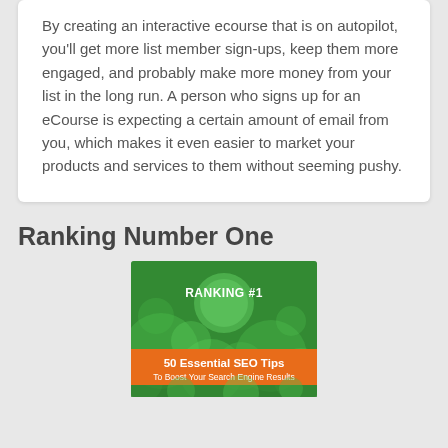By creating an interactive ecourse that is on autopilot, you'll get more list member sign-ups, keep them more engaged, and probably make more money from your list in the long run. A person who signs up for an eCourse is expecting a certain amount of email from you, which makes it even easier to market your products and services to them without seeming pushy.
Ranking Number One
[Figure (illustration): Book cover for 'Ranking #1 - 50 Essential SEO Tips To Boost Your Search Engine Results' with green background featuring circular bokeh elements and an orange banner at the bottom.]